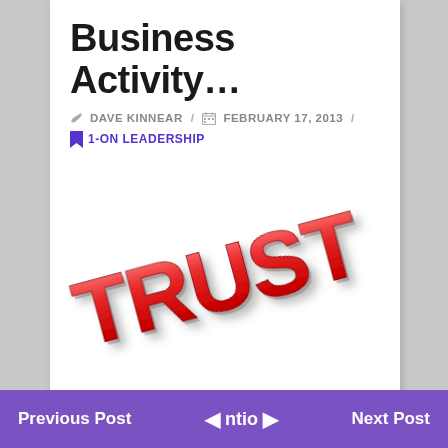Business Activity...
DAVE KINNEAR / FEBRUARY 17, 2013 /
1-ON LEADERSHIP
[Figure (illustration): Red glossy 3D stamp text reading TRUST at an angle on white background]
Previous Post   ◄ ntion ►   Next Post